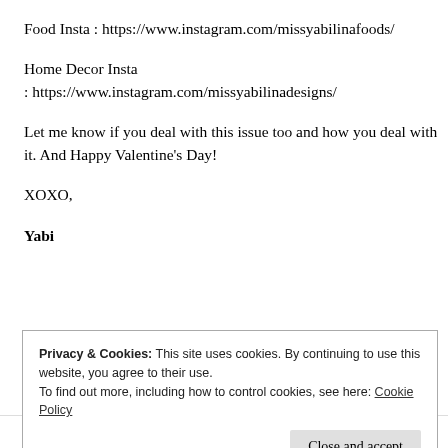Food Insta : https://www.instagram.com/missyabilinafoods/
Home Decor Insta
: https://www.instagram.com/missyabilinadesigns/
Let me know if you deal with this issue too and how you deal with it. And Happy Valentine’s Day!
XOXO,
Yabi
Privacy & Cookies: This site uses cookies. By continuing to use this website, you agree to their use.
To find out more, including how to control cookies, see here: Cookie Policy
Close and accept
Bring in on the la...